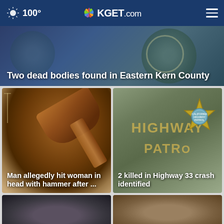100° KGET.com
[Figure (photo): Hero image with sheriff department seal background, dark blue tones]
Two dead bodies found in Eastern Kern County
[Figure (photo): Photo of a wooden court gavel on a surface, courthouse/legal theme]
Man allegedly hit woman in head with hammer after ...
[Figure (photo): California Highway Patrol sign with star badge logo]
2 killed in Highway 33 crash identified
[Figure (photo): Partial view of a person's head/hair, bottom left card]
[Figure (photo): Partial view of a person's head/hair, bottom right card]